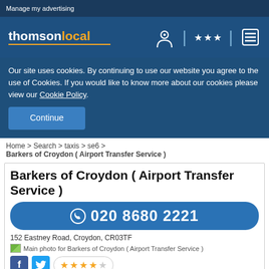Manage my advertising
[Figure (logo): thomsonlocal logo in white and orange with navigation icons]
Our site uses cookies. By continuing to use our website you agree to the use of Cookies. If you would like to know more about our cookies please view our Cookie Policy.
Continue
Home > Search > taxis > se6 > Barkers of Croydon ( Airport Transfer Service )
Barkers of Croydon ( Airport Transfer Service )
020 8680 2221
152 Eastney Road, Croydon, CR03TF
Main photo for Barkers of Croydon ( Airport Transfer Service )
[Figure (other): Facebook icon, Twitter icon, and 4-star rating (4 filled stars, 1 empty star) in a rounded border box]